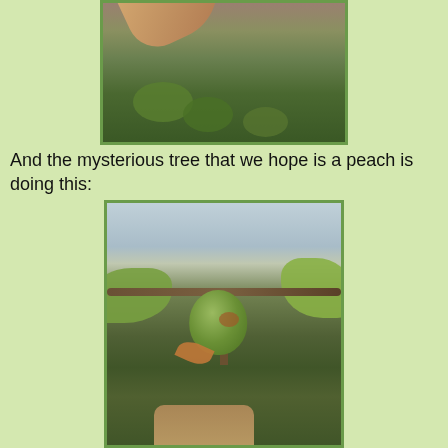[Figure (photo): Close-up photograph of a hand/finger pointing near leafy green vegetation and branches outdoors]
And the mysterious tree that we hope is a peach is doing this:
[Figure (photo): Close-up photograph of a small green fruit bud with dried petals on a branch, with green leaves and blurred background of orchard/garden]